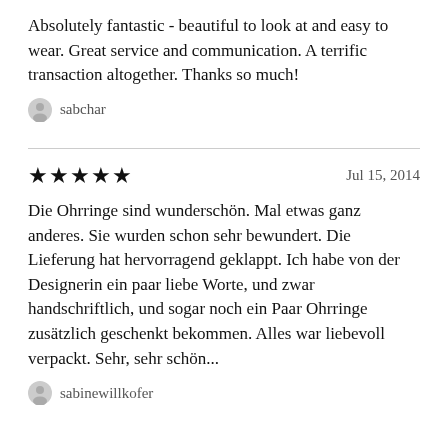Absolutely fantastic - beautiful to look at and easy to wear. Great service and communication. A terrific transaction altogether. Thanks so much!
sabchar
★★★★★   Jul 15, 2014
Die Ohrringe sind wunderschön. Mal etwas ganz anderes. Sie wurden schon sehr bewundert. Die Lieferung hat hervorragend geklappt. Ich habe von der Designerin ein paar liebe Worte, und zwar handschriftlich, und sogar noch ein Paar Ohrringe zusätzlich geschenkt bekommen. Alles war liebevoll verpackkt. Sehr, sehr schön...
sabinewillkofer